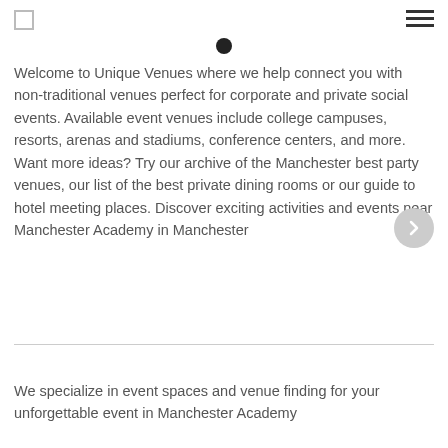Welcome to Unique Venues where we help connect you with non-traditional venues perfect for corporate and private social events. Available event venues include college campuses, resorts, arenas and stadiums, conference centers, and more. Want more ideas? Try our archive of the Manchester best party venues, our list of the best private dining rooms or our guide to hotel meeting places. Discover exciting activities and events near Manchester Academy in Manchester
We specialize in event spaces and venue finding for your unforgettable event in Manchester Academy